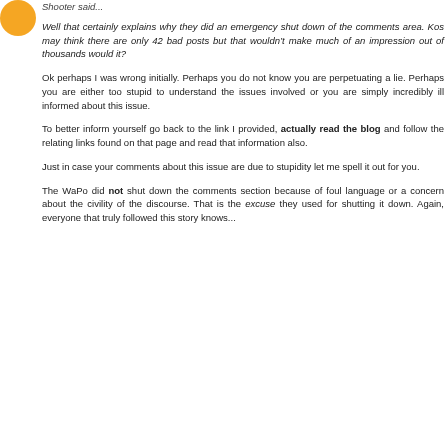Shooter said...
Well that certainly explains why they did an emergency shut down of the comments area. Kos may think there are only 42 bad posts but that wouldn't make much of an impression out of thousands would it?
Ok perhaps I was wrong initially. Perhaps you do not know you are perpetuating a lie. Perhaps you are either too stupid to understand the issues involved or you are simply incredibly ill informed about this issue.
To better inform yourself go back to the link I provided, actually read the blog and follow the relating links found on that page and read that information also.
Just in case your comments about this issue are due to stupidity let me spell it out for you.
The WaPo did not shut down the comments section because of foul language or a concern about the civility of the discourse. That is the excuse they used for shutting it down. Again, everyone that truly followed this story knows...